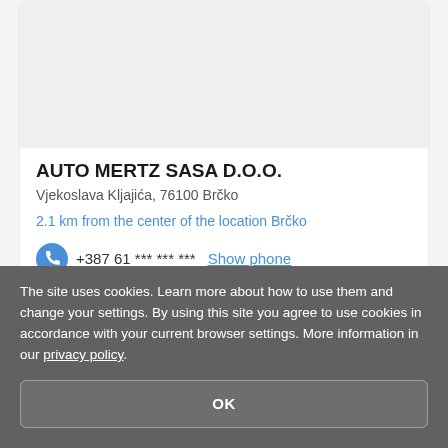[Figure (photo): Light gray image placeholder area at the top of a business listing card]
AUTO MERTZ SASA D.O.O.
Vjekoslava Kljajića, 76100 Brčko
2.1 km from the center of the location Brčko
+387 61 *** *** ***  Show phone
BOOK A VISIT
The site uses cookies. Learn more about how to use them and change your settings. By using this site you agree to use cookies in accordance with your current browser settings. More information in our privacy policy.
OK